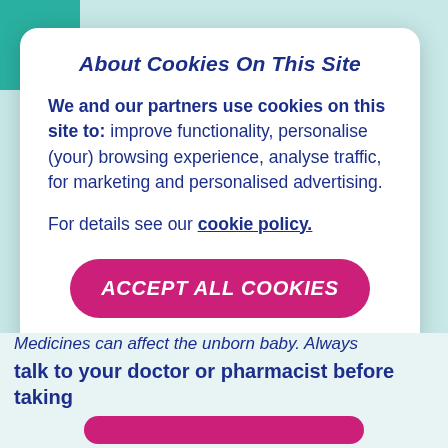About Cookies On This Site
We and our partners use cookies on this site to: improve functionality, personalise (your) browsing experience, analyse traffic, for marketing and personalised advertising.
For details see our cookie policy.
ACCEPT ALL COOKIES
Medicines can affect the unborn baby. Always talk to your doctor or pharmacist before taking